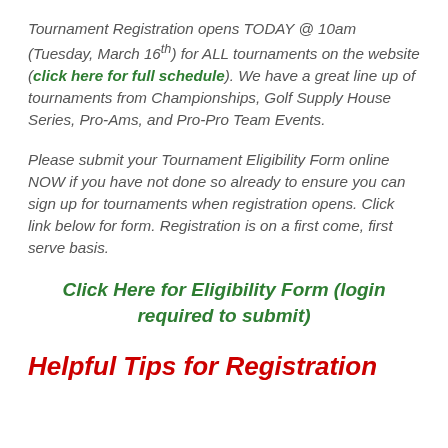Tournament Registration opens TODAY @ 10am (Tuesday, March 16th) for ALL tournaments on the website (click here for full schedule). We have a great line up of tournaments from Championships, Golf Supply House Series, Pro-Ams, and Pro-Pro Team Events.
Please submit your Tournament Eligibility Form online NOW if you have not done so already to ensure you can sign up for tournaments when registration opens. Click link below for form. Registration is on a first come, first serve basis.
Click Here for Eligibility Form (login required to submit)
Helpful Tips for Registration